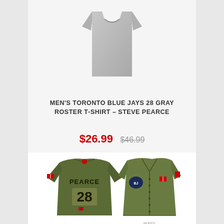[Figure (photo): Gray t-shirt product photo, partially cropped at top]
MEN'S TORONTO BLUE JAYS 28 GRAY ROSTER T-SHIRT – STEVE PEARCE
$26.99  $46.99
[Figure (photo): Olive green Toronto Blue Jays #28 PEARCE baseball jersey shown from back and front views]